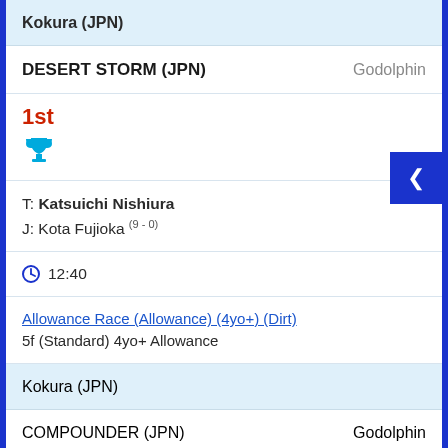Kokura (JPN)
DESERT STORM (JPN)   Godolphin
1st
[Figure (illustration): Blue trophy icon]
T: Katsuichi Nishiura
J: Kota Fujioka (9 - 0)
12:40
Allowance Race (Allowance) (4yo+) (Dirt)
5f (Standard) 4yo+ Allowance
Kokura (JPN)
COMPOUNDER (JPN)   Godolphin
1st